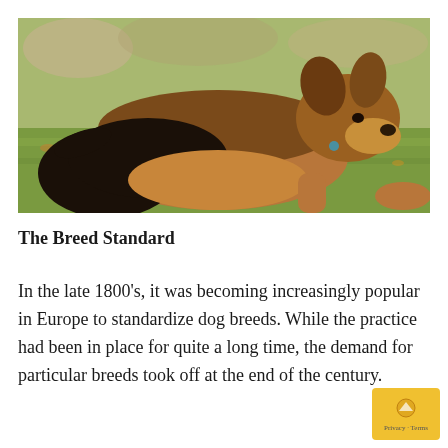[Figure (photo): A German Shepherd dog lying on a grassy lawn, viewed from the side, with black and tan coloring and a blue tag on its collar.]
The Breed Standard
In the late 1800's, it was becoming increasingly popular in Europe to standardize dog breeds. While the practice had been in place for quite a long time, the demand for particular breeds took off at the end of the century.